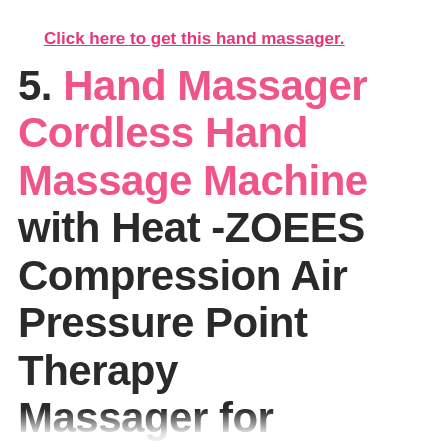Click here to get this hand massager.
5. Hand Massager Cordless Hand Massage Machine with Heat -ZOEES Compression Air Pressure Point Therapy Massager for